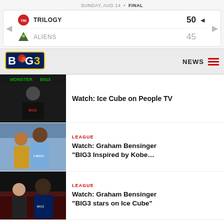SUNDAY, AUG 14 • FINAL
| Team | Score |
| --- | --- |
| TRILOGY | 50 |
| ALIENS | 45 |
[Figure (logo): BIG3 league logo]
NEWS
[Figure (photo): Ice Cube at BIG3 press conference wearing BIG3 shirt]
Watch: Ice Cube on People TV
[Figure (photo): Graham Bensinger interviewing at BIG3 event, man in yellow Nuggets jersey]
LEAGUE
Watch: Graham Bensinger "BIG3 Inspired by Kobe...
[Figure (photo): Graham Bensinger with Ice Cube at BIG3 event]
LEAGUE
Watch: Graham Bensinger "BIG3 stars on Ice Cube"